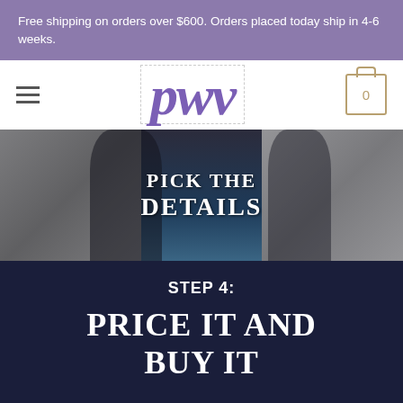Free shipping on orders over $600. Orders placed today ship in 4-6 weeks.
[Figure (screenshot): PWV logo with hamburger menu and cart icon navigation bar]
[Figure (photo): Hero banner with text 'PICK THE DETAILS' overlaid on dark figures/fashion items background]
STEP 4:
PRICE IT AND BUY IT